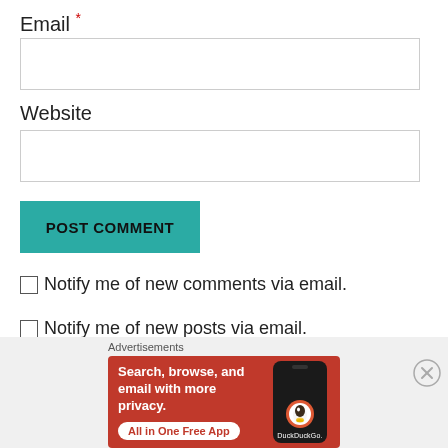Email *
[Figure (screenshot): Empty email input text field with light gray border]
Website
[Figure (screenshot): Empty website input text field with light gray border]
[Figure (screenshot): Teal POST COMMENT button]
Notify me of new comments via email.
Notify me of new posts via email.
Advertisements
[Figure (screenshot): DuckDuckGo advertisement banner with orange-red background showing 'Search, browse, and email with more privacy. All in One Free App' with a phone showing the DuckDuckGo duck logo]